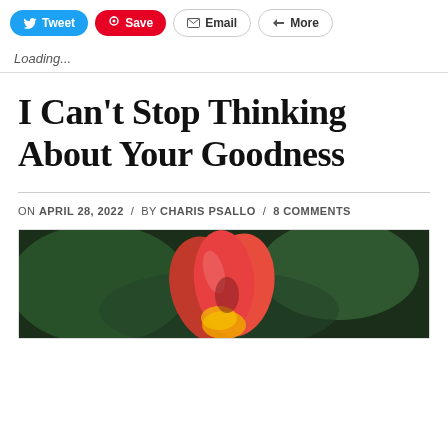Tweet  Save  Email  More
Loading...
I Can't Stop Thinking About Your Goodness
ON APRIL 28, 2022 / BY CHARIS PSALLO / 8 COMMENTS
[Figure (photo): Close-up photograph of a red and yellow tulip flower against a dark green background]